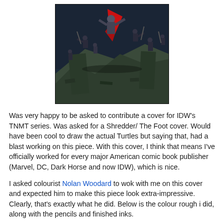[Figure (illustration): Comic book illustration showing Shredder and The Foot clan on rooftop ruins, dark moody colors with red accent, multiple ninja figures in action poses]
Was very happy to be asked to contribute a cover for IDW's TNMT series. Was asked for a Shredder/ The Foot cover. Would have been cool to draw the actual Turtles but saying that, had a blast working on this piece. With this cover, I think that means I've officially worked for every major American comic book publisher (Marvel, DC, Dark Horse and now IDW), which is nice.
I asked colourist Nolan Woodard to wok with me on this cover and expected him to make this piece look extra-impressive. Clearly, that's exactly what he did. Below is the colour rough i did, along with the pencils and finished inks.